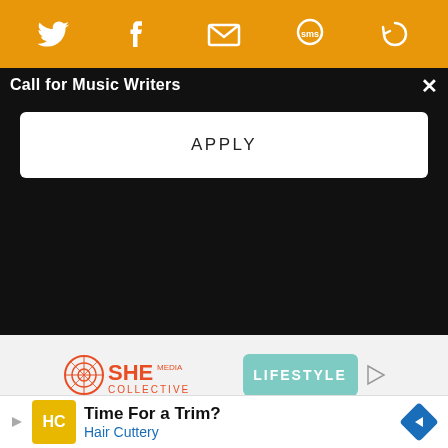[Figure (screenshot): Orange social sharing bar with Twitter, Facebook, email, SMS, and settings icons in white]
Call for Music Writers
APPLY
© 1999-2021 PopMatters Media, Inc. All rights reserved. PopMatters is wholly independent, women-owned and operated.
[Figure (logo): SHE Media Collective Lifestyle ad logo with play button and Learn More | Privacy links]
[Figure (screenshot): Bottom advertisement: Time For a Trim? Hair Cuttery with HC logo and navigation arrow]